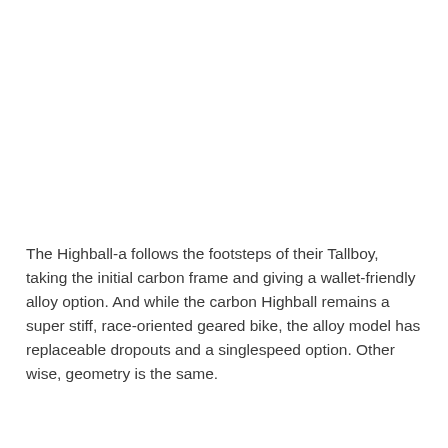The Highball-a follows the footsteps of their Tallboy, taking the initial carbon frame and giving a wallet-friendly alloy option. And while the carbon Highball remains a super stiff, race-oriented geared bike, the alloy model has replaceable dropouts and a singlespeed option. Other wise, geometry is the same.